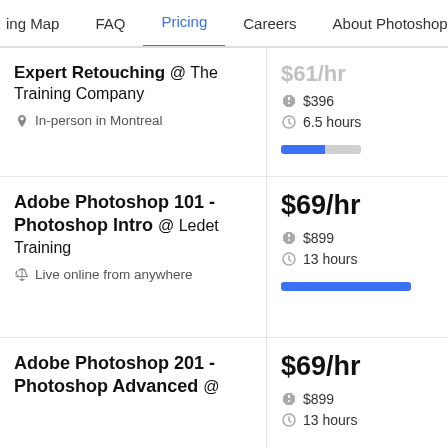ing Map   FAQ   Pricing   Careers   About Photoshop
Expert Retouching @ The Training Company
In-person in Montreal
$61/hr  $396  6.5 hours
Adobe Photoshop 101 - Photoshop Intro @ Ledet Training
Live online from anywhere
$69/hr  $899  13 hours
Adobe Photoshop 201 - Photoshop Advanced @
$69/hr  $899  13 hours